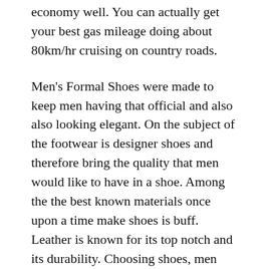economy well. You can actually get your best gas mileage doing about 80km/hr cruising on country roads.
Men's Formal Shoes were made to keep men having that official and also also looking elegant. On the subject of the footwear is designer shoes and therefore bring the quality that men would like to have in a shoe. Among the the best known materials once upon a time make shoes is buff. Leather is known for its top notch and its durability. Choosing shoes, men should therefore make specific they buy hgh online quality shoes that is long continuing. The men's formal shoes also differ to the prints which have on his or her outside. Tastes them manufactured from crocodile, lizard or